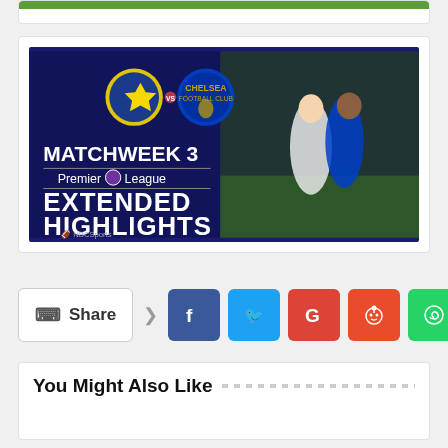[Figure (screenshot): NBC Sports video thumbnail for Leeds vs Chelsea Matchweek 3 Premier League Extended Highlights]
Share
You Might Also Like